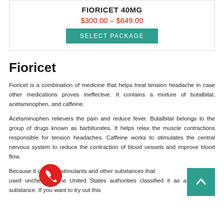FIORICET 40MG
$300.00 – $649.00
SELECT PACKAGE
Fioricet
Fioricet is a combination of medicine that helps treat tension headache in case other medications proves ineffective. It contains a mixture of butalbital, acetaminophen, and caffeine.
Acetaminophen relievers the pain and reduce fever. Butalbital belongs to the group of drugs known as barbiturates. It helps relax the muscle contractions responsible for tension headaches. Caffeine works to stimulates the central nervous system to reduce the contraction of blood vessels and improve blood flow.
Because it contains stimulants and other substances that addictive if used unchecked, the United States authorities classified it as a controlled substance. If you want to try out this